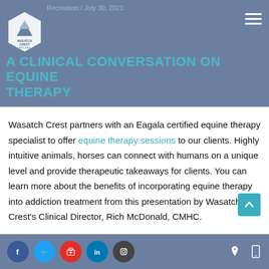Recreation / July 30, 2021
A CLINICAL CONVERSATION ON EQUINE THERAPY
Wasatch Crest partners with an Eagala certified equine therapy specialist to offer equine therapy sessions to our clients. Highly intuitive animals, horses can connect with humans on a unique level and provide therapeutic takeaways for clients. You can learn more about the benefits of incorporating equine therapy into addiction treatment from this presentation by Wasatch Crest's Clinical Director, Rich McDonald, CMHC.
Social icons: Facebook, Twitter, Google, LinkedIn, Instagram | Location icon | Mobile icon